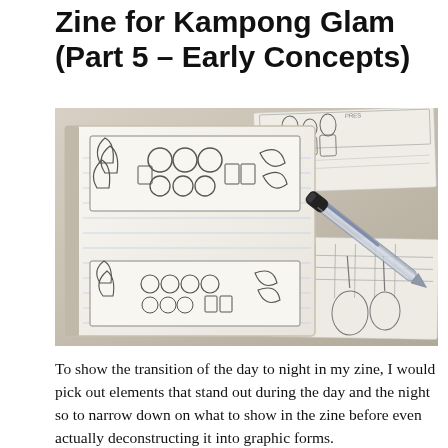Zine for Kampong Glam (Part 5 – Early Concepts)
[Figure (photo): A photograph of an open sketchbook showing pencil sketches and concept drawings for a zine about Kampong Glam. The sketches show layout compositions with circles, organic shapes, and figures. A black ballpoint pen rests diagonally across the top-right of the sketchbook. Additional loose sketch sheets are visible around the notebook.]
To show the transition of the day to night in my zine, I would pick out elements that stand out during the day and the night so to narrow down on what to show in the zine before even actually deconstructing it into graphic forms.